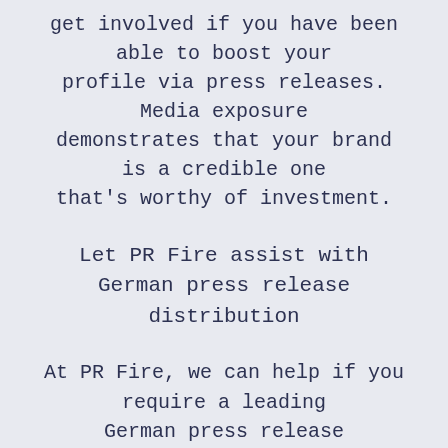get involved if you have been able to boost your profile via press releases. Media exposure demonstrates that your brand is a credible one that's worthy of investment.
Let PR Fire assist with German press release distribution
At PR Fire, we can help if you require a leading German press release distribution service that will help you boost your brand. We have the ability to get your press release out to a host of influential German journalists and bloggers, ensuring your stories are read by as many people as possible in Germany and beyond. You can contact us at any time if you do have any queries about the services